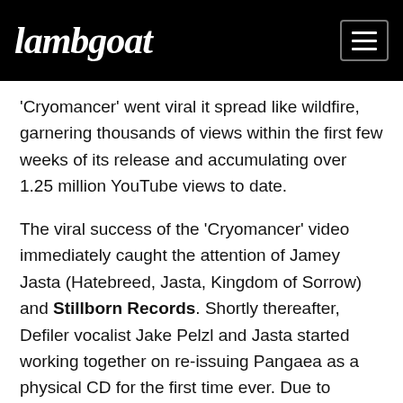lambgoat
'Cryomancer' went viral it spread like wildfire, garnering thousands of views within the first few weeks of its release and accumulating over 1.25 million YouTube views to date.
The viral success of the 'Cryomancer' video immediately caught the attention of Jamey Jasta (Hatebreed, Jasta, Kingdom of Sorrow) and Stillborn Records. Shortly thereafter, Defiler vocalist Jake Pelzl and Jasta started working together on re-issuing Pangaea as a physical CD for the first time ever. Due to popular demand, Stillborn Records is now fast tracking the reissue of Pangaea and making it